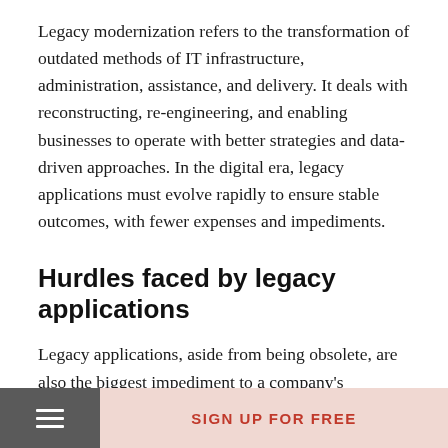Legacy modernization refers to the transformation of outdated methods of IT infrastructure, administration, assistance, and delivery. It deals with reconstructing, re-engineering, and enabling businesses to operate with better strategies and data-driven approaches. In the digital era, legacy applications must evolve rapidly to ensure stable outcomes, with fewer expenses and impediments.
Hurdles faced by legacy applications
Legacy applications, aside from being obsolete, are also the biggest impediment to a company's productivity. Popular integration company Cleo's 2020 Ecosystem and Application Integration report found that around 63% of
SIGN UP FOR FREE